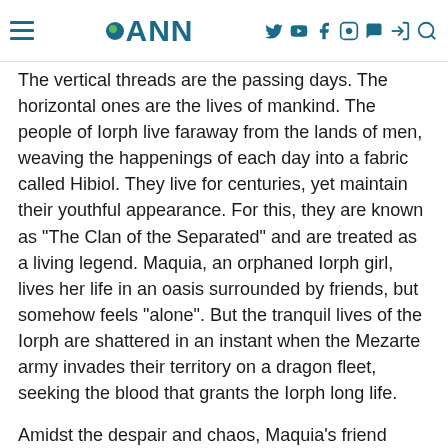ANN
The vertical threads are the passing days. The horizontal ones are the lives of mankind. The people of Iorph live faraway from the lands of men, weaving the happenings of each day into a fabric called Hibiol. They live for centuries, yet maintain their youthful appearance. For this, they are known as "The Clan of the Separated" and are treated as a living legend. Maquia, an orphaned Iorph girl, lives her life in an oasis surrounded by friends, but somehow feels "alone". But the tranquil lives of the Iorph are shattered in an instant when the Mezarte army invades their territory on a dragon fleet, seeking the blood that grants the Iorph long life.
Amidst the despair and chaos, Maquia's friend Leilia, the most beautiful of the Iolph girls, is kidnapped by the Mezarte in their plot to thicken